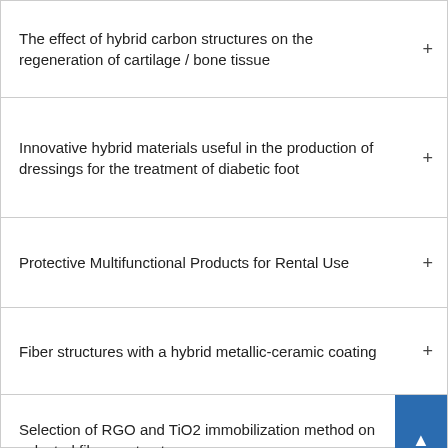The effect of hybrid carbon structures on the regeneration of cartilage / bone tissue
Innovative hybrid materials useful in the production of dressings for the treatment of diabetic foot
Protective Multifunctional Products for Rental Use
Fiber structures with a hybrid metallic-ceramic coating
Selection of RGO and TiO2 immobilization method on selected fibrous structures
Hybridgeowall - Functional hybrid